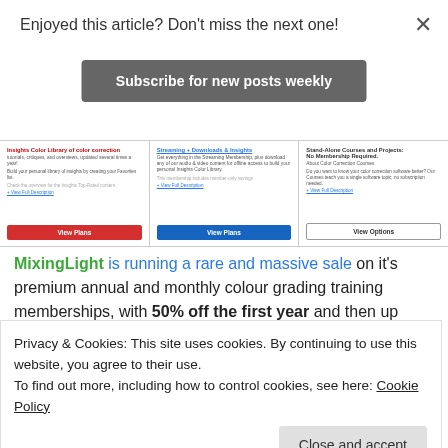Enjoyed this article? Don't miss the next one!
Subscribe for new posts weekly
[Figure (screenshot): Three membership card panels showing Insights, Streaming+Downloads, and Stand-Alone Courses options with View Plans and View Options buttons]
MixingLight is running a rare and massive sale on it's premium annual and monthly colour grading training memberships, with 50% off the first year and then up
Privacy & Cookies: This site uses cookies. By continuing to use this website, you agree to their use.
To find out more, including how to control cookies, see here: Cookie Policy
Close and accept
best part is this sale is available for new and existing